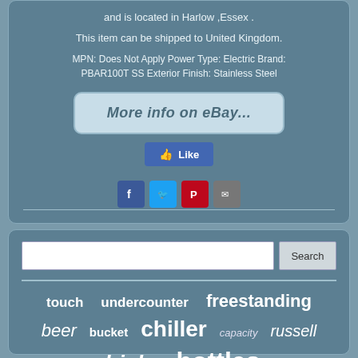and is located in Harlow ,Essex .
This item can be shipped to United Kingdom.
MPN: Does Not Apply Power Type: Electric Brand: PBAR100T SS Exterior Finish: Stainless Steel
[Figure (screenshot): More info on eBay... button/link styled as a rounded rectangle]
[Figure (infographic): Facebook Like button and social sharing icons (Facebook, Twitter, Pinterest, Email)]
[Figure (infographic): Search bar with Search button and keyword tags: touch, undercounter, freestanding, beer, bucket, chiller, capacity, russell, drinks, bottles]